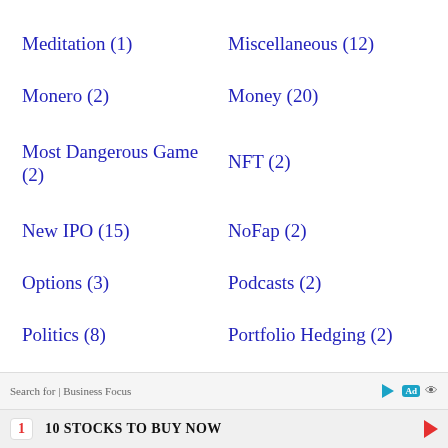Meditation (1)
Miscellaneous (12)
Monero (2)
Money (20)
Most Dangerous Game (2)
NFT (2)
New IPO (15)
NoFap (2)
Options (3)
Podcasts (2)
Politics (8)
Portfolio Hedging (2)
Search for | Business Focus
1  10 STOCKS TO BUY NOW